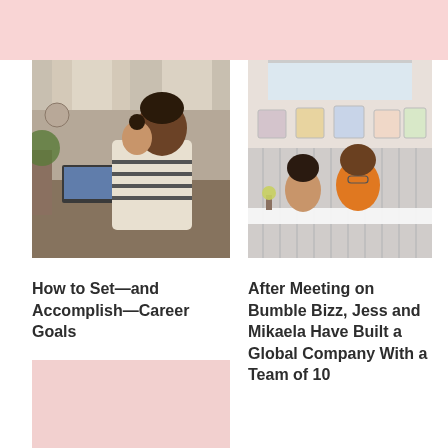[Figure (photo): A man sitting at a desk working on a laptop with a young child sitting on his lap, in a home setting with curtains and plants in the background.]
[Figure (photo): Two women sitting at a white table in a bright room with colorful artwork on the walls, looking toward the camera.]
How to Set—and Accomplish—Career Goals
After Meeting on Bumble Bizz, Jess and Mikaela Have Built a Global Company With a Team of 10
[Figure (other): A pink rectangular placeholder/card area at the bottom left.]